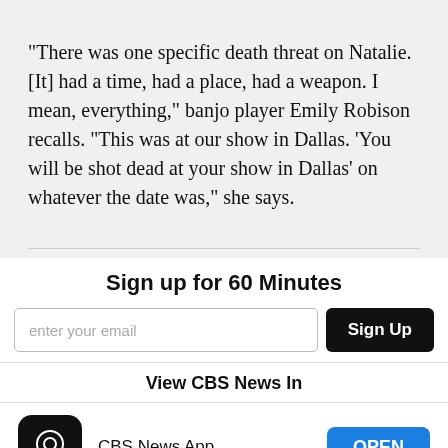"There was one specific death threat on Natalie. [It] had a time, had a place, had a weapon. I mean, everything," banjo player Emily Robison recalls. "This was at our show in Dallas. 'You will be shot dead at your show in Dallas' on whatever the date was," she says.
Sign up for 60 Minutes
enter your email
Sign Up
View CBS News In
CBS News App
OPEN